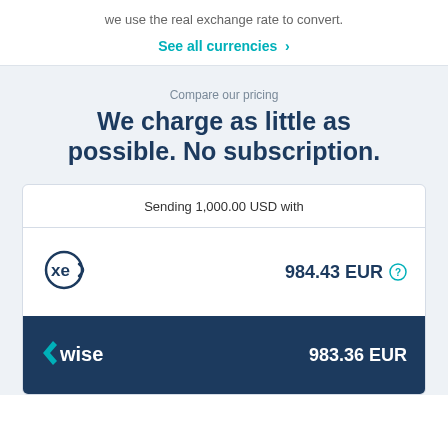we use the real exchange rate to convert.
See all currencies >
Compare our pricing
We charge as little as possible. No subscription.
| Sending 1,000.00 USD with |  |
| --- | --- |
| xe (logo) | 984.43 EUR |
| Wise (logo) | 983.36 EUR |